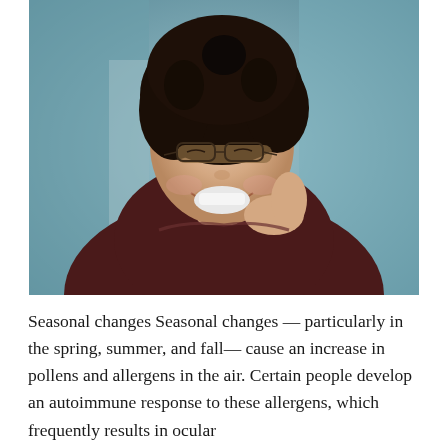[Figure (photo): A smiling woman with curly dark hair and glasses, wearing a dark maroon long-sleeve top with lace trim, laughing and touching her neck, photographed in an indoor setting with a blurred teal-blue background.]
Seasonal changes Seasonal changes — particularly in the spring, summer, and fall— cause an increase in pollens and allergens in the air. Certain people develop an autoimmune response to these allergens, which frequently results in ocular inflammation and...